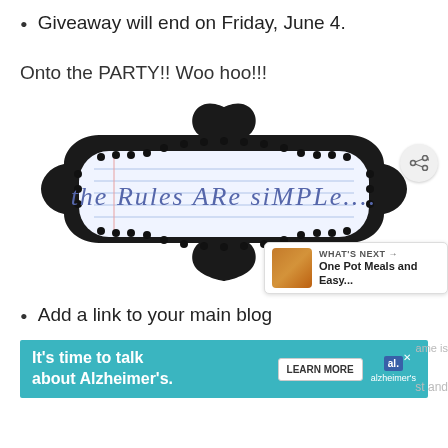Giveaway will end on Friday, June 4.
Onto the PARTY!! Woo hoo!!!
[Figure (illustration): Decorative ornate black frame with dotted inner border on lined notebook paper background with text 'the Rules ARe siMPLe....' in hand-drawn style lettering]
Add a link to your main blog
[Figure (screenshot): Advertisement banner: 'It's time to talk about Alzheimer's.' with LEARN MORE button and Alzheimer's Association logo]